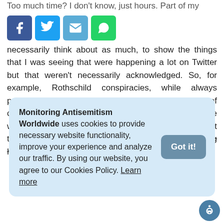Too much time? I don't know, just hours. Part of my
[Figure (other): Social sharing buttons: Facebook (blue), Twitter (light blue), Email (blue), WhatsApp (green)]
necessarily think about as much, to show the things that I was seeing that were happening a lot on Twitter but that weren't necessarily acknowledged. So, for example, Rothschild conspiracies, while always powerful, were very clearly rising during the rise of coronavirus. With the rise of QAnon, all these people were really spreading the Rothschilds conspiracy. Not that it needed any help, but unfortunately it was getting helped.
Monitoring Antisemitism Worldwide uses cookies to provide necessary website functionality, improve your experience and analyze our traffic. By using our website, you agree to our Cookies Policy. Learn more
Got it!